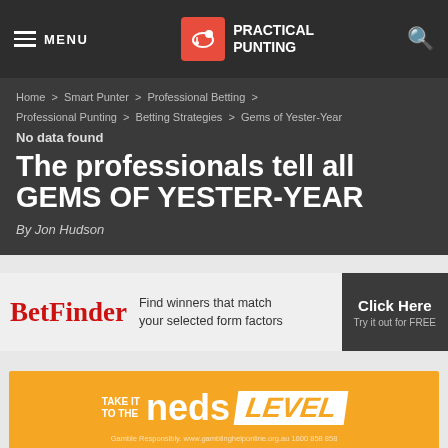MENU | PRACTICAL PUNTING
Home > Smart Punter > Professional Betting > Professional Punting > Betting Strategies > Gems of Yester-Year
No data found
The professionals tell all GEMS OF YESTER-YEAR
By Jon Hudson
[Figure (infographic): BetFinder advertisement banner: 'BetFinder - Find winners that match your selected form factors - Click Here Try it out for FREE']
[Figure (infographic): Neds advertisement banner: 'TAKE IT TO THE neds LEVEL' on orange background]
Punting Library   Form Guide   Tips   Blackbook